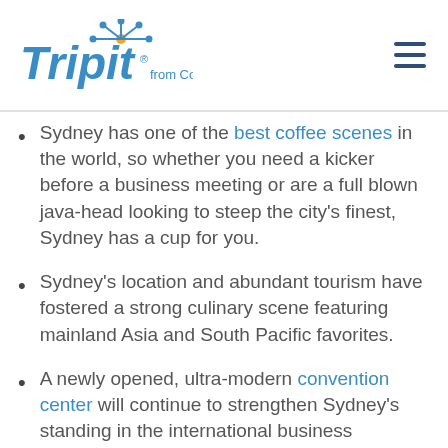TripIt from Concur
Sydney has one of the best coffee scenes in the world, so whether you need a kicker before a business meeting or are a full blown java-head looking to steep the city's finest, Sydney has a cup for you.
Sydney's location and abundant tourism have fostered a strong culinary scene featuring mainland Asia and South Pacific favorites.
A newly opened, ultra-modern convention center will continue to strengthen Sydney's standing in the international business community.